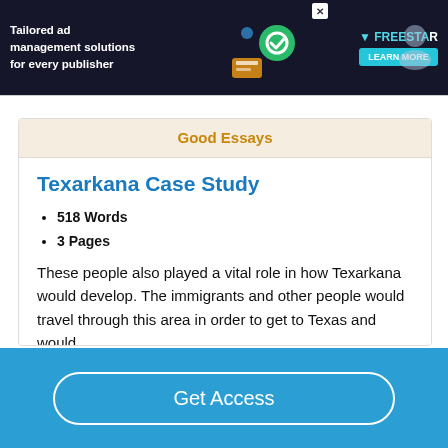[Figure (screenshot): Advertisement banner for Freestar ad management: dark background with text 'Tailored ad management solutions for every publisher', Freestar logo with teal triangle, Learn More button, and X close button]
Texarkana Case Study
518 Words
3 Pages
These people also played a vital role in how Texarkana would develop. The immigrants and other people would travel through this area in order to get to Texas and would
Get Access